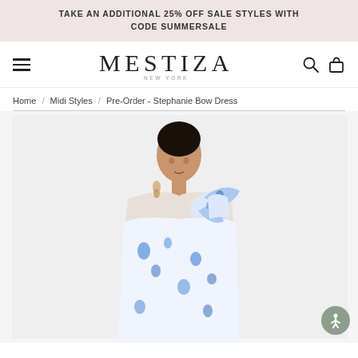TAKE AN ADDITIONAL 25% OFF SALE STYLES WITH CODE SUMMERSALE
[Figure (logo): Mestiza New York brand logo with hamburger menu, search icon, and bag icon in navigation bar]
Home / Midi Styles / Pre-Order - Stephanie Bow Dress
[Figure (photo): Model wearing the Stephanie Bow Dress - a white and blue floral one-shoulder midi dress with a large bow detail on the shoulder]